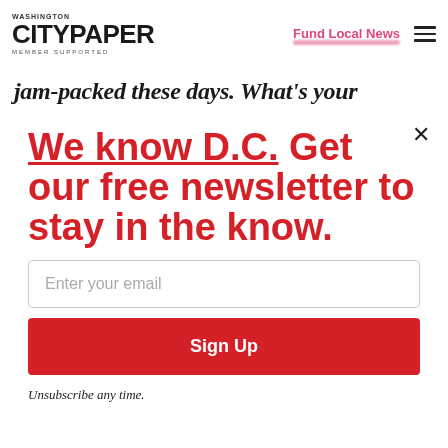Washington City Paper — Member Supported | Fund Local News
jam-packed these days. What's your
We know D.C. Get our free newsletter to stay in the know.
Enter your email
Sign Up
Unsubscribe any time.